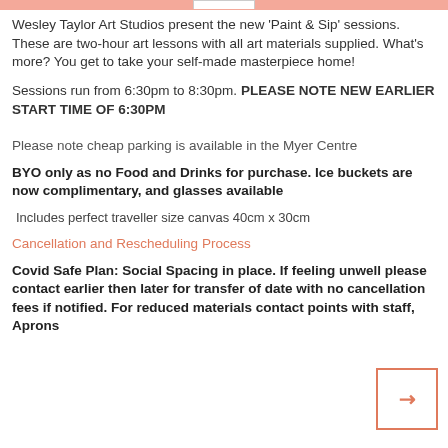Wesley Taylor Art Studios  present the new ‘Paint & Sip’ sessions. These are two-hour art lessons with all art materials supplied.  What’s more? You get to take your self-made masterpiece home!
Sessions run from 6:30pm to 8:30pm. PLEASE NOTE NEW EARLIER START TIME OF 6:30PM
Please note cheap parking is available in the Myer Centre
BYO only as no Food and Drinks for purchase. Ice buckets are now complimentary, and glasses available
Includes perfect traveller size canvas 40cm x 30cm
Cancellation and Rescheduling Process
Covid Safe Plan: Social Spacing in place. If feeling unwell please contact earlier then later for transfer of date with no cancellation fees if notified. For reduced materials contact points with staff, Aprons